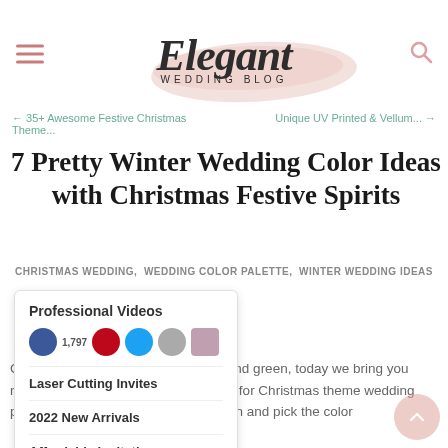Elegant Wedding Blog
← 35+ Awesome Festive Christmas Theme...    Unique UV Printed & Vellum... →
7 Pretty Winter Wedding Color Ideas with Christmas Festive Spirits
CHRISTMAS WEDDING,  WEDDING COLOR PALETTE,  WINTER WEDDING IDEAS
Professional Videos
Laser Cutting Invites
2022 New Arrivals
Affordable Invitations
Blue Color Invitations
Burgundy Invitations
Christmas wedding is not just in red and green, today we bring you more creative colors that can be used for Christmas theme wedding party. Not sure which? Just scroll down and pick the color